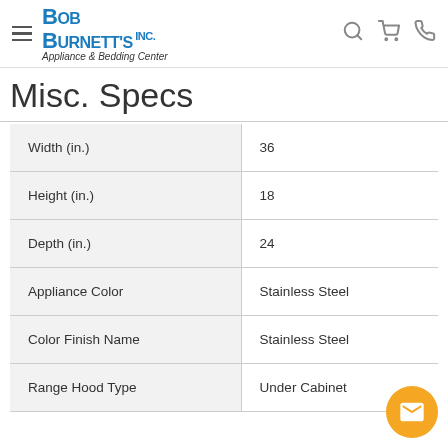Bob Burnett's Inc. Appliance & Bedding Center
Misc. Specs
|  |  |
| --- | --- |
| Width (in.) | 36 |
| Height (in.) | 18 |
| Depth (in.) | 24 |
| Appliance Color | Stainless Steel |
| Color Finish Name | Stainless Steel |
| Range Hood Type | Under Cabinet |